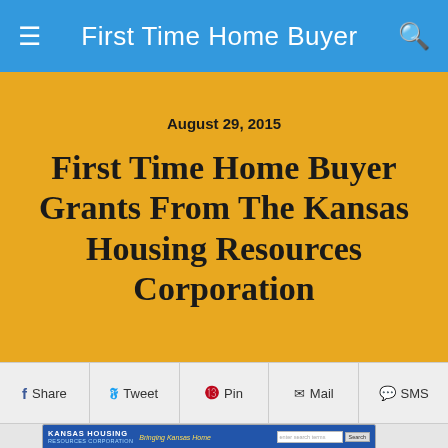First Time Home Buyer
August 29, 2015
First Time Home Buyer Grants From The Kansas Housing Resources Corporation
Share  Tweet  Pin  Mail  SMS
[Figure (screenshot): Screenshot of the Kansas Housing Resources Corporation website homepage showing the blue header with logo, search bar, green navigation bar with menu items including Homeowners, Realtors, Special Needs, Housing Partners, News, and a partial view of the site body with photos.]